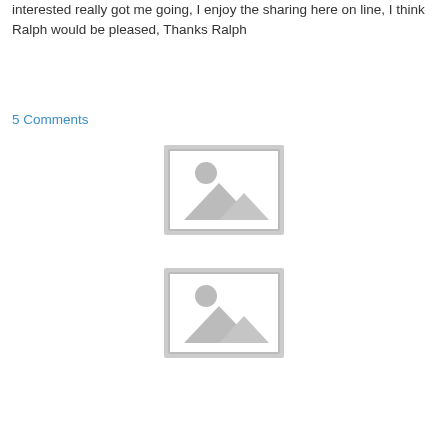interested really got me going, I enjoy the sharing here on line, I think Ralph would be pleased, Thanks Ralph
5 Comments
[Figure (illustration): Placeholder image icon showing a landscape with mountain and circle (sun), gray tones, first instance]
[Figure (illustration): Placeholder image icon showing a landscape with mountain and circle (sun), gray tones, second instance]